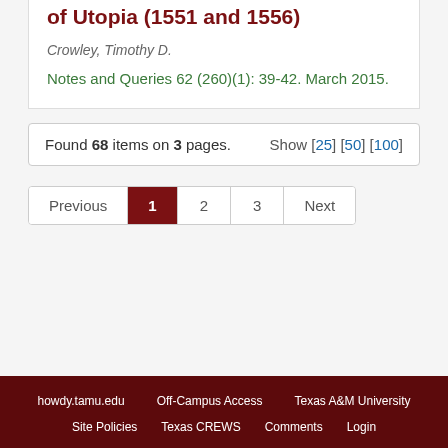of Utopia (1551 and 1556)
Crowley, Timothy D.
Notes and Queries 62 (260)(1): 39-42. March 2015.
Found 68 items on 3 pages.  Show [25] [50] [100]
Previous  1  2  3  Next
howdy.tamu.edu  Off-Campus Access  Texas A&M University  Site Policies  Texas CREWS  Comments  Login